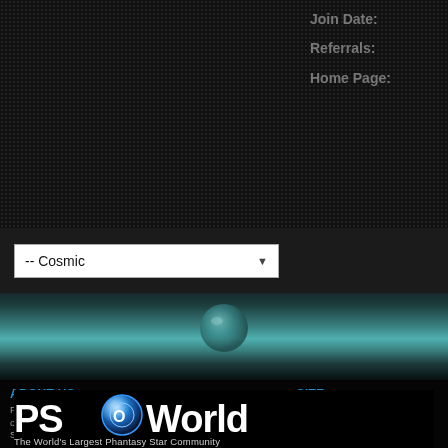Join Date:
Referrals:
Home Page:
-- Cosmic
ABOUT US
PSO-World is the world's largest Phantasy Star community website offering discussion forums, guides, and news for online Phantasy Star games.
SITE
News
Foru...
Galle...
[Figure (logo): PSO-World logo with blue orb O and text 'The World's Largest Phantasy Star Community']